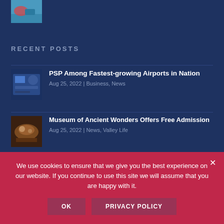[Figure (photo): Small thumbnail image at top, appears to show hands/object on teal/green background]
RECENT POSTS
PSP Among Fastest-growing Airports in Nation
Aug 25, 2022 | Business, News
Museum of Ancient Wonders Offers Free Admission
Aug 25, 2022 | News, Valley Life
Palm Springs City Council to Get New Faces
We use cookies to ensure that we give you the best experience on our website. If you continue to use this site we will assume that you are happy with it.
OK   PRIVACY POLICY